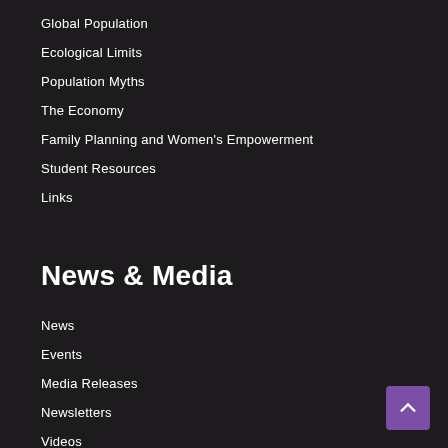Global Population
Ecological Limits
Population Myths
The Economy
Family Planning and Women's Empowerment
Student Resources
Links
News & Media
News
Events
Media Releases
Newsletters
Videos
Post Growth Podcast
Discussion Papers
Submissions to Inquiries